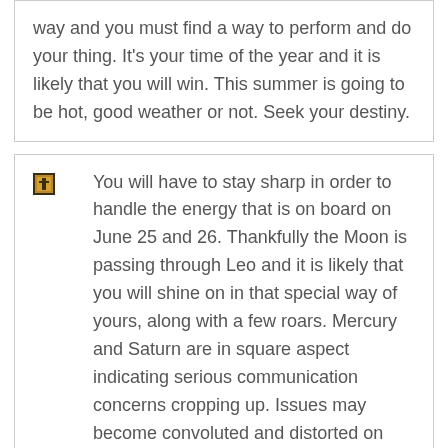way and you must find a way to perform and do your thing. It's your time of the year and it is likely that you will win. This summer is going to be hot, good weather or not. Seek your destiny.
[Figure (illustration): Small square icon representing a zodiac or astrological symbol]
You will have to stay sharp in order to handle the energy that is on board on June 25 and 26. Thankfully the Moon is passing through Leo and it is likely that you will shine on in that special way of yours, along with a few roars. Mercury and Saturn are in square aspect indicating serious communication concerns cropping up. Issues may become convoluted and distorted on June 26, and it may be wise to wait a few days and let the